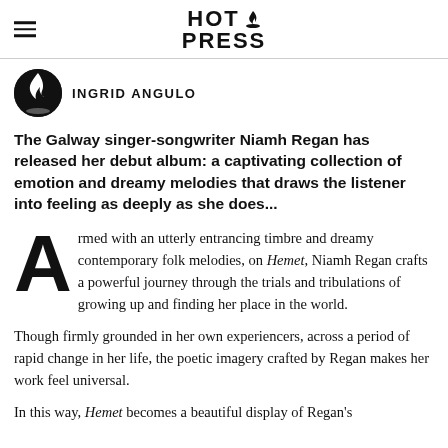HOT PRESS
INGRID ANGULO
The Galway singer-songwriter Niamh Regan has released her debut album: a captivating collection of emotion and dreamy melodies that draws the listener into feeling as deeply as she does...
Armed with an utterly entrancing timbre and dreamy contemporary folk melodies, on Hemet, Niamh Regan crafts a powerful journey through the trials and tribulations of growing up and finding her place in the world.
Though firmly grounded in her own experiencers, across a period of rapid change in her life, the poetic imagery crafted by Regan makes her work feel universal.
In this way, Hemet becomes a beautiful display of Regan's